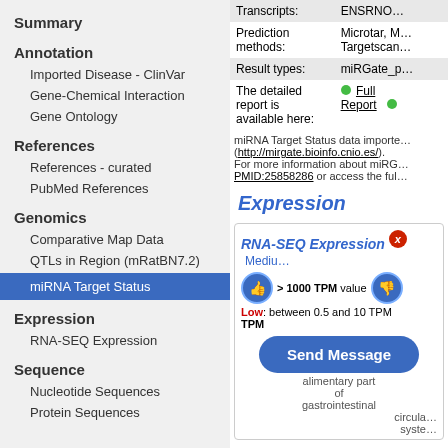Summary
Annotation
Imported Disease - ClinVar
Gene-Chemical Interaction
Gene Ontology
References
References - curated
PubMed References
Genomics
Comparative Map Data
QTLs in Region (mRatBN7.2)
miRNA Target Status
Expression
RNA-SEQ Expression
Sequence
Nucleotide Sequences
Protein Sequences
| Field | Value |
| --- | --- |
| Transcripts: | ENSRNO... |
| Prediction methods: | Microtar, M... Targetscan... |
| Result types: | miRGate_p... |
| The detailed report is available here: | Full Report |
miRNA Target Status data imported (http://mirgate.bioinfo.cnio.es/). For more information about miRG... PMID:25858286 or access the ful...
Expression
[Figure (screenshot): RNA-SEQ Expression panel showing thumbs up/down legend for High (>1000 TPM), Medium, Low (between 0.5 and 10 TPM) values, with a Send Message button overlay and a partial table showing alimentary part of gastrointestinal and circulatory system columns.]